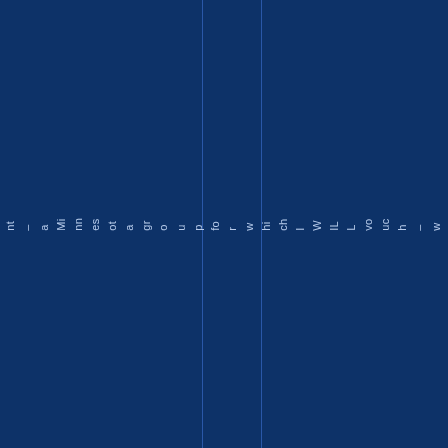ent – a Minnesota group for which I WILL vouch – whos